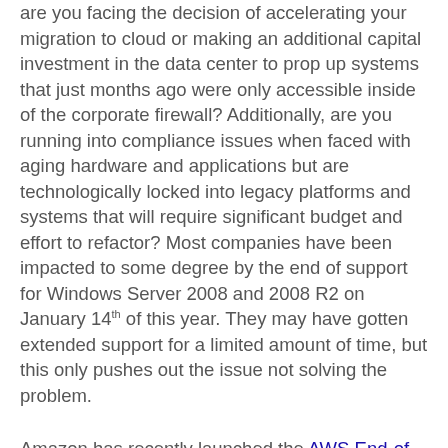are you facing the decision of accelerating your migration to cloud or making an additional capital investment in the data center to prop up systems that just months ago were only accessible inside of the corporate firewall? Additionally, are you running into compliance issues when faced with aging hardware and applications but are technologically locked into legacy platforms and systems that will require significant budget and effort to refactor? Most companies have been impacted to some degree by the end of support for Windows Server 2008 and 2008 R2 on January 14th of this year. They may have gotten extended support for a limited amount of time, but this only pushes out the issue not solving the problem.
Amazon has recently launched the AWS End-of-Support Migration Program (EMP) for Windows Server. This program offers the technology and expert guidance to migrate your applications running on Windows Server 2003, 2008, and 2008 R2